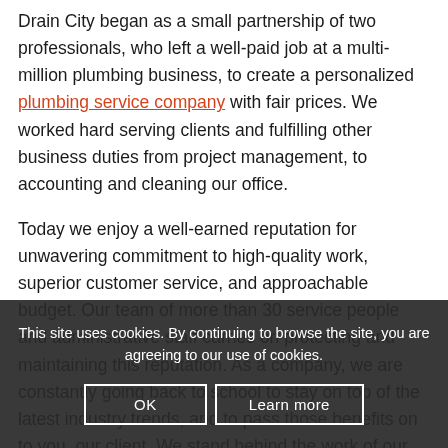Drain City began as a small partnership of two professionals, who left a well-paid job at a multi-million plumbing business, to create a personalized plumbing service company with fair prices. We worked hard serving clients and fulfilling other business duties from project management, to accounting and cleaning our office.
Today we enjoy a well-earned reputation for unwavering commitment to high-quality work, superior customer service, and approachable budget. Our team of more than 30 service people and administrative staff carries on protecting and maintaining this reputation. As a company, we are constantly going back to school to stay on top of the latest industry trends, and to pass those benefits on to you, our client. We stand behind the work of our technicians, taking community together every step of the project.
This site uses cookies. By continuing to browse the site, you are agreeing to our use of cookies.